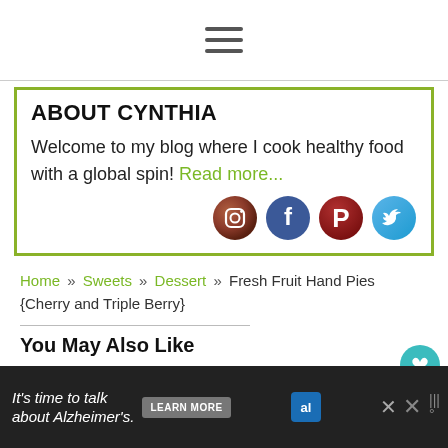[Figure (other): Hamburger menu icon (three horizontal bars)]
ABOUT CYNTHIA
Welcome to my blog where I cook healthy food with a global spin! Read more...
[Figure (other): Social media icons: Instagram, Facebook, Pinterest, Twitter]
Home » Sweets » Dessert » Fresh Fruit Hand Pies {Cherry and Triple Berry}
You May Also Like
[Figure (other): Ad banner: It's time to talk about Alzheimer's. Learn More. Alzheimer's Association logo.]